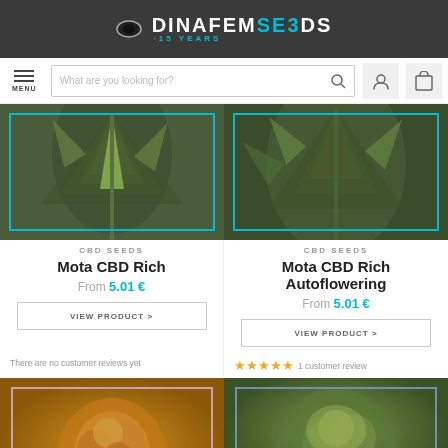DINAFEMSEEDS 15 YEARS
[Figure (screenshot): Navigation bar with hamburger menu, search bar 'What are you looking for?', user icon, and cart icon]
[Figure (photo): Cannabis plant leaves close-up, teal border frame]
[Figure (photo): Cannabis plant close-up, teal border frame]
CBD SEEDS
Mota CBD Rich
From 5.01 €
VIEW PRODUCT >
CBD SEEDS
Mota CBD Rich Autoflowering
From 5.01 €
VIEW PRODUCT >
There are no customer reviews yet
★★★★★ 1 customer review
[Figure (photo): Cannabis bud close-up with orange/amber background, pink border frame]
[Figure (photo): Cannabis bud close-up with green background, blue border frame]